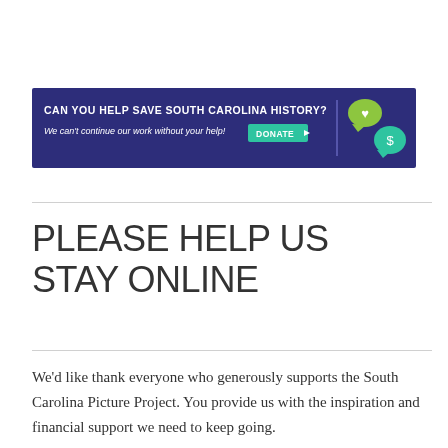[Figure (infographic): Dark blue donation banner reading 'CAN YOU HELP SAVE SOUTH CAROLINA HISTORY?' with italic subtitle 'We can't continue our work without your help!' and a green DONATE button with play icon, a vertical divider, and two speech bubble icons (heart and dollar sign) on the right.]
PLEASE HELP US STAY ONLINE
We'd like thank everyone who generously supports the South Carolina Picture Project. You provide us with the inspiration and financial support we need to keep going.